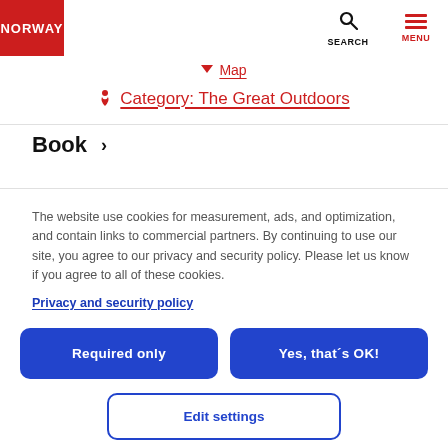NORWAY | SEARCH | MENU
▼ Map
🚶 Category: The Great Outdoors
Book >
The website use cookies for measurement, ads, and optimization, and contain links to commercial partners. By continuing to use our site, you agree to our privacy and security policy. Please let us know if you agree to all of these cookies.
Privacy and security policy
Required only
Yes, that´s OK!
Edit settings